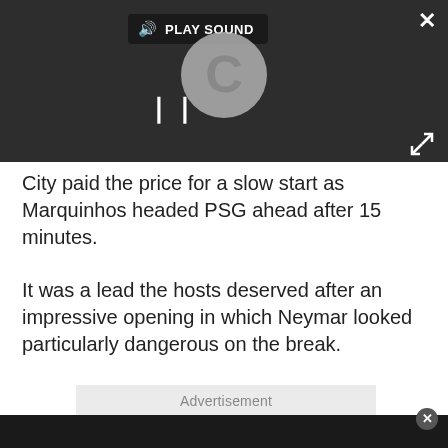[Figure (screenshot): Video player with dark background showing a loading spinner (letter C in a circle), play sound button, pause icon, close button, and expand icon]
City paid the price for a slow start as Marquinhos headed PSG ahead after 15 minutes.
It was a lead the hosts deserved after an impressive opening in which Neymar looked particularly dangerous on the break.
Advertisement